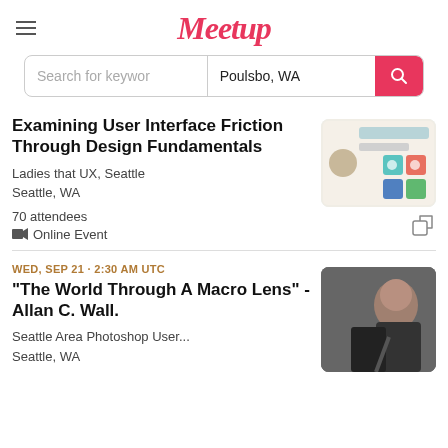Meetup
Search for keywords | Poulsbo, WA
Examining User Interface Friction Through Design Fundamentals
Ladies that UX, Seattle
Seattle, WA
70 attendees
Online Event
[Figure (screenshot): Event thumbnail for UX/design event showing a presenter and design tool icons]
WED, SEP 21 · 2:30 AM UTC
“The World Through A Macro Lens” - Allan C. Wall.
Seattle Area Photoshop User...
Seattle, WA
[Figure (photo): Photo of a bald man speaking into a microphone]